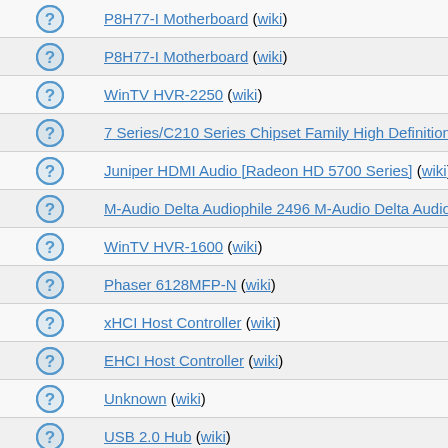P8H77-I Motherboard (wiki)
P8H77-I Motherboard (wiki)
WinTV HVR-2250 (wiki)
7 Series/C210 Series Chipset Family High Definition Audio Controller
Juniper HDMI Audio [Radeon HD 5700 Series] (wiki)
M-Audio Delta Audiophile 2496 M-Audio Delta Audiophile (wiki)
WinTV HVR-1600 (wiki)
Phaser 6128MFP-N (wiki)
xHCI Host Controller (wiki)
EHCI Host Controller (wiki)
Unknown (wiki)
USB 2.0 Hub (wiki)
Desktop (wiki)
Mass Storage Device (wiki)
BT2.0 (wiki)